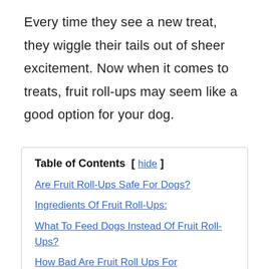Every time they see a new treat, they wiggle their tails out of sheer excitement. Now when it comes to treats, fruit roll-ups may seem like a good option for your dog.
| Table of Contents |
| --- |
| Are Fruit Roll-Ups Safe For Dogs? |
| Ingredients Of Fruit Roll-Ups: |
| What To Feed Dogs Instead Of Fruit Roll-Ups? |
| How Bad Are Fruit Roll Ups For… |